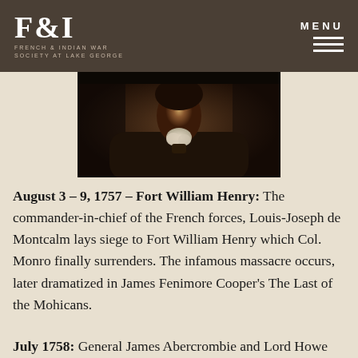F&I — FRENCH & INDIAN WAR SOCIETY AT LAKE GEORGE | MENU
[Figure (photo): Dark portrait painting of a military commander in a dark coat with white lace cravat, shown from chest up against a brown background.]
August 3 – 9, 1757 – Fort William Henry: The commander-in-chief of the French forces, Louis-Joseph de Montcalm lays siege to Fort William Henry which Col. Monro finally surrenders. The infamous massacre occurs, later dramatized in James Fenimore Cooper's The Last of the Mohicans.
July 1758: General James Abercrombie and Lord Howe